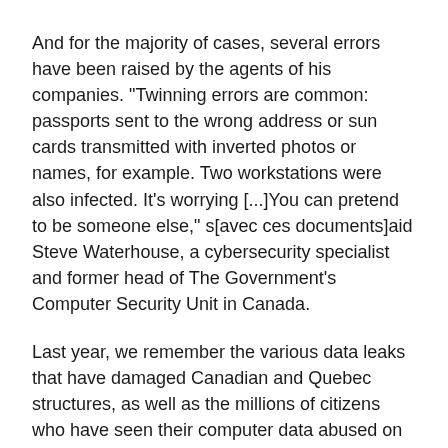And for the majority of cases, several errors have been raised by the agents of his companies. "Twinning errors are common: passports sent to the wrong address or sun cards transmitted with inverted photos or names, for example. Two workstations were also infected. It's worrying [...]You can pretend to be someone else," s[avec ces documents]aid Steve Waterhouse, a cybersecurity specialist and former head of The Government's Computer Security Unit in Canada.
Last year, we remember the various data leaks that have damaged Canadian and Quebec structures, as well as the millions of citizens who have seen their computer data abused on both sides. Starting with Desjardins at the revenue Quebec data leak via the U.S. structure's data theft case, Canadians have seen their